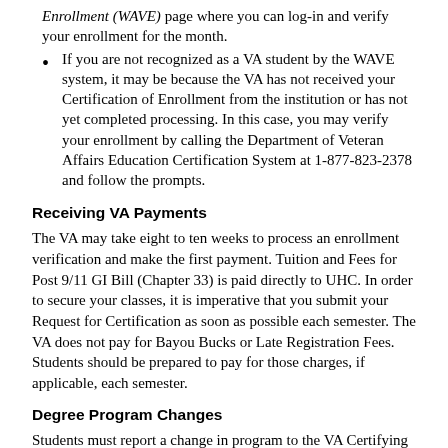Enrollment (WAVE) page where you can log-in and verify your enrollment for the month.
If you are not recognized as a VA student by the WAVE system, it may be because the VA has not received your Certification of Enrollment from the institution or has not yet completed processing. In this case, you may verify your enrollment by calling the Department of Veteran Affairs Education Certification System at 1-877-823-2378 and follow the prompts.
Receiving VA Payments
The VA may take eight to ten weeks to process an enrollment verification and make the first payment. Tuition and Fees for Post 9/11 GI Bill (Chapter 33) is paid directly to UHC. In order to secure your classes, it is imperative that you submit your Request for Certification as soon as possible each semester. The VA does not pay for Bayou Bucks or Late Registration Fees. Students should be prepared to pay for those charges, if applicable, each semester.
Degree Program Changes
Students must report a change in program to the VA Certifying Official. Only courses required for that specific program will be certified with the VA.